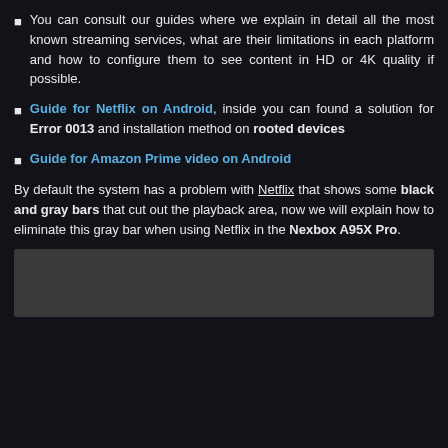You can consult our guides where we explain in detail all the most known streaming services, what are their limitations in each platform and how to configure them to see content in HD or 4K quality if possible.
Guide for Netflix on Android, inside you can found a solution for Error 0013 and installation method on rooted devices
Guide for Amazon Prime video on Android
By default the system has a problem with Netflix that shows some black and gray bars that cut out the playback area, now we will explain how to eliminate this gray bar when using Netflix in the Nexbox A95X Pro.
[Figure (screenshot): Gray/dark screenshot or image area at the bottom of the page]